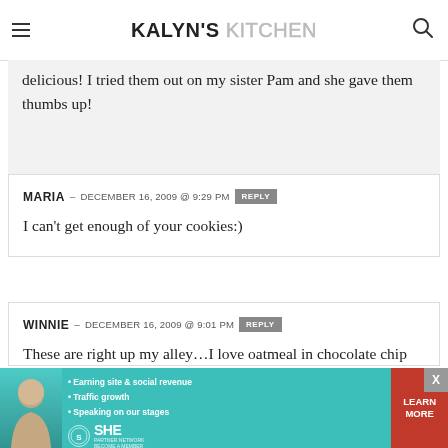KALYN'S KITCHEN
delicious! I tried them out on my sister Pam and she gave them thumbs up!
MARIA — DECEMBER 16, 2009 @ 9:29 PM  REPLY
I can't get enough of your cookies:)
WINNIE — DECEMBER 16, 2009 @ 9:01 PM  REPLY
These are right up my alley…I love oatmeal in chocolate chip cookies!
[Figure (infographic): SHE Partner Network advertisement banner with teal background, photo of woman, bullets: Earning site & social revenue, Traffic growth, Speaking on our stages. SHE logo circle, LEARN MORE red button.]